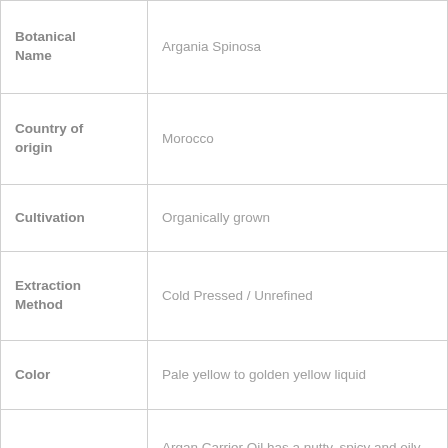| Property | Value |
| --- | --- |
| Botanical Name | Argania Spinosa |
| Country of origin | Morocco |
| Cultivation | Organically grown |
| Extraction Method | Cold Pressed / Unrefined |
| Color | Pale yellow to golden yellow liquid |
| Scent | Argan Carrier Oil has a nutty, spicy and oily scent. |
| Texture | Liquid |
| Ingredients | Argania Spinosa |
|  | Argan Carrier Oil is used in manufacturing soaps, creams and shampoos. It is rich in vitamin E, carotenes, antioxidants and |